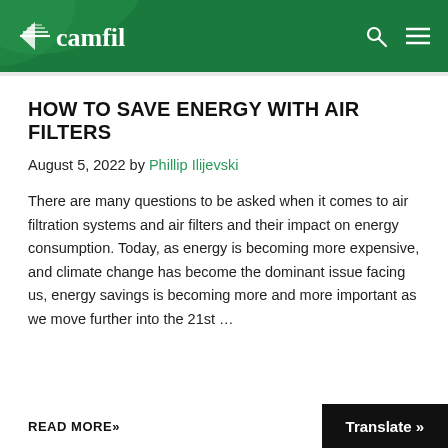camfil
HOW TO SAVE ENERGY WITH AIR FILTERS
August 5, 2022 by Phillip Ilijevski
There are many questions to be asked when it comes to air filtration systems and air filters and their impact on energy consumption. Today, as energy is becoming more expensive, and climate change has become the dominant issue facing us, energy savings is becoming more and more important as we move further into the 21st …
READ MORE»
Translate »